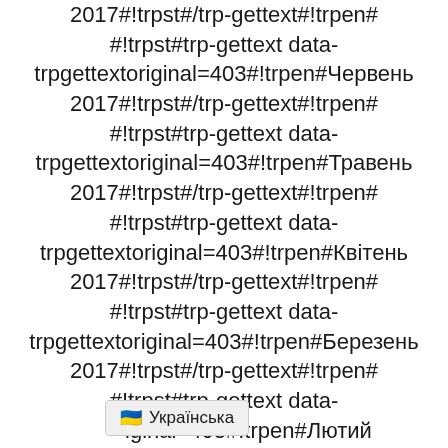2017#!trpst#/trp-gettext#!trpen# #!trpst#trp-gettext data-trpgettextoriginal=403#!trpen#Червень 2017#!trpst#/trp-gettext#!trpen# #!trpst#trp-gettext data-trpgettextoriginal=403#!trpen#Травень 2017#!trpst#/trp-gettext#!trpen# #!trpst#trp-gettext data-trpgettextoriginal=403#!trpen#Квітень 2017#!trpst#/trp-gettext#!trpen# #!trpst#trp-gettext data-trpgettextoriginal=403#!trpen#Березень 2017#!trpst#/trp-gettext#!trpen# #!trpst#trp-gettext data-trpgettextoriginal=403#!trpen#Лютий
🇺🇦 Українська